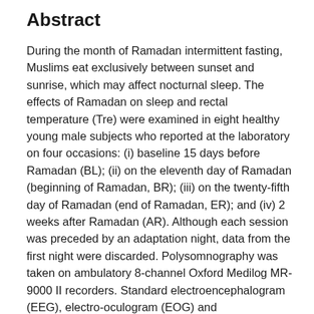Abstract
During the month of Ramadan intermittent fasting, Muslims eat exclusively between sunset and sunrise, which may affect nocturnal sleep. The effects of Ramadan on sleep and rectal temperature (Tre) were examined in eight healthy young male subjects who reported at the laboratory on four occasions: (i) baseline 15 days before Ramadan (BL); (ii) on the eleventh day of Ramadan (beginning of Ramadan, BR); (iii) on the twenty-fifth day of Ramadan (end of Ramadan, ER); and (iv) 2 weeks after Ramadan (AR). Although each session was preceded by an adaptation night, data from the first night were discarded. Polysomnography was taken on ambulatory 8-channel Oxford Medilog MR-9000 II recorders. Standard electroencephalogram (EEG), electro-oculogram (EOG) and electromyogram (EMG) recordings were scored visually with the PhiTools ERA. The main finding of the study was that during Ramadan sleep latency is increased and sleep architecture